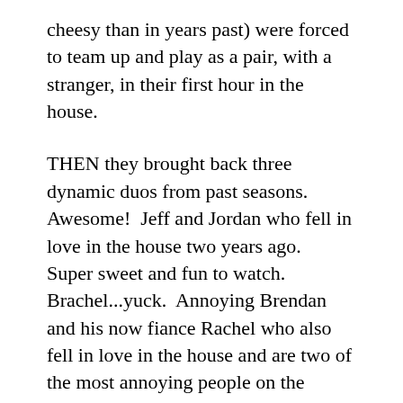cheesy than in years past) were forced to team up and play as a pair, with a stranger, in their first hour in the house.
THEN they brought back three dynamic duos from past seasons.  Awesome!  Jeff and Jordan who fell in love in the house two years ago.  Super sweet and fun to watch.  Brachel...yuck.  Annoying Brendan and his now fiance Rachel who also fell in love in the house and are two of the most annoying people on the planet.  (She says things like “No one comes between me and my Banana.” ugh!) And finally, Evil Dick and his daughter Danielle.   Evil Dick is very cool and also a a*&.  He and his daughter are pretending to not be speaking (I think.)   The